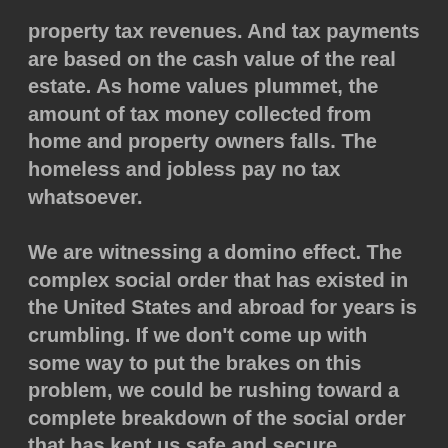property tax revenues. And tax payments are based on the cash value of the real estate. As home values plummet, the amount of tax money collected from home and property owners falls. The homeless and jobless pay no tax whatsoever.
We are witnessing a domino effect. The complex social order that has existed in the United States and abroad for years is crumbling. If we don't come up with some way to put the brakes on this problem, we could be rushing toward a complete breakdown of the social order that has kept us safe and secure.
Imagine attempting to carry on without police and fire protection, with no running water or electricity in our homes, no food in the stores to buy, and no money to buy food if we could find it. There would be no gasoline with which to operate our cars and trucks. No fuel to heat our homes during the winter